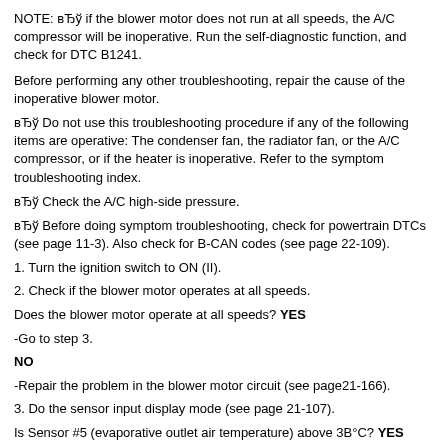NOTE: вЂў if the blower motor does not run at all speeds, the A/C compressor will be inoperative. Run the self-diagnostic function, and check for DTC B1241.
Before performing any other troubleshooting, repair the cause of the inoperative blower motor.
вЂў Do not use this troubleshooting procedure if any of the following items are operative: The condenser fan, the radiator fan, or the A/C compressor, or if the heater is inoperative. Refer to the symptom troubleshooting index.
вЂў Check the A/C high-side pressure.
вЂў Before doing symptom troubleshooting, check for powertrain DTCs (see page 11-3). Also check for B-CAN codes (see page 22-109).
1. Turn the ignition switch to ON (II).
2. Check if the blower motor operates at all speeds.
Does the blower motor operate at all speeds? YES
-Go to step 3.
NO
-Repair the problem in the blower motor circuit (see page21-166).
3. Do the sensor input display mode (see page 21-107).
Is Sensor #5 (evaporative outlet air temperature) above 3В°C? YES